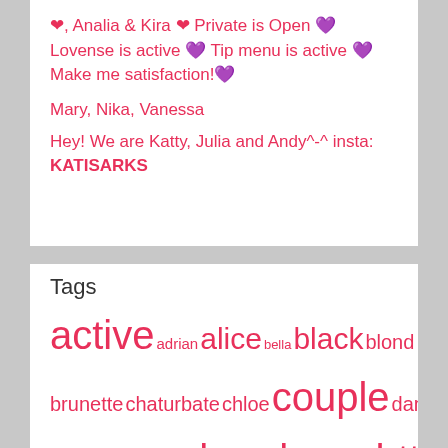❤, Analia & Kira ❤ Private is Open 💜 Lovense is active 💜 Tip menu is active 💜 Make me satisfaction!💜
Mary, Nika, Vanessa
Hey! We are Katty, Julia and Andy^-^ insta: KATISARKS
Tags
active adrian alice bella black blond blonde brunette chaturbate chloe couple danny david emely emily fansly girls guest hands hello https jessie kamilla karena katrin lovense margo mariia